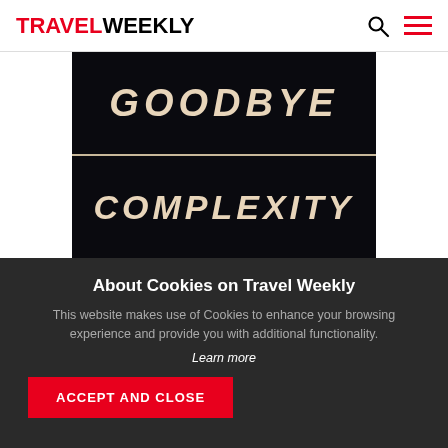TRAVEL WEEKLY
[Figure (photo): Dark background image with large tan/cream uppercase italic text reading 'GOODBYE' on top half and 'COMPLEXITY' on bottom half, split by a horizontal line]
About Cookies on Travel Weekly
This website makes use of Cookies to enhance your browsing experience and provide you with additional functionality.
Learn more
ACCEPT AND CLOSE